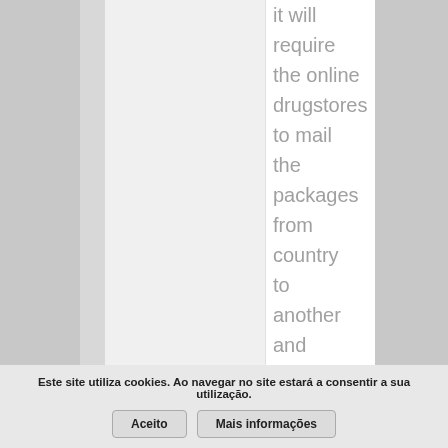it will require the online drugstores to mail the packages from country to another and deliver these phones their
Este site utiliza cookies. Ao navegar no site estará a consentir a sua utilização.